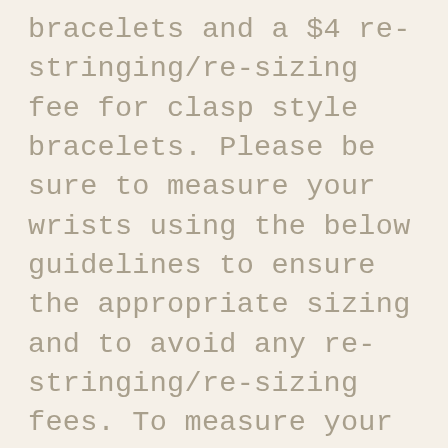bracelets and a $4 re-stringing/re-sizing fee for clasp style bracelets. Please be sure to measure your wrists using the below guidelines to ensure the appropriate sizing and to avoid any re-stringing/re-sizing fees. To measure your wrist; use a soft measuring tape and measure over the part of the wrist you would like your bracelet to sit. You can also use a string or shoe lace to measure the part of the wrist you would like your bracelet to sit and then measure that against a ruler or measuring tape. *Note: each clasp style bracelet is made with a .5″ extender chain, so please ord[Chat with us]ou measure at and the extende[r] e in addition to the size listed below. Sizing